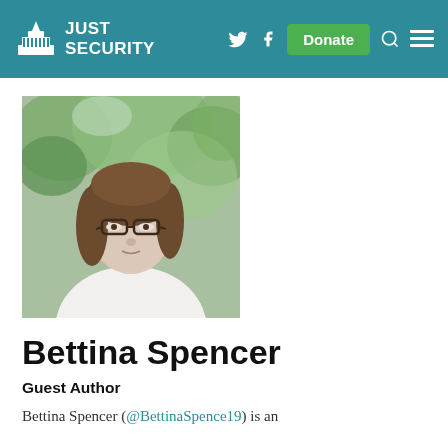Just Security
[Figure (photo): Profile photo of Bettina Spencer, a woman with shoulder-length brown hair and glasses wearing a white button-up shirt, photographed outdoors with trees in background]
Bettina Spencer
Guest Author
Bettina Spencer (@BettinaSpence19) is an